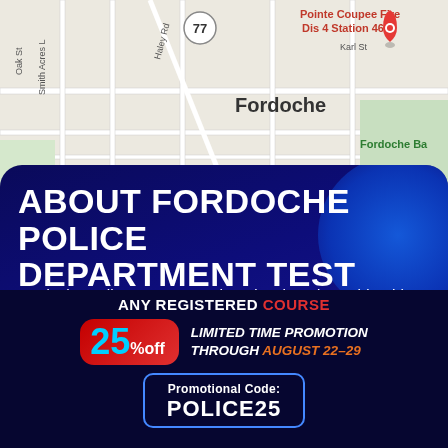[Figure (map): Google Maps screenshot showing Fordoche area with Pointe Coupee Fire District 4 Station 46 location pin, showing streets including Oak St, Smith Acres Ln, Haley Rd, Karl St, and the label Fordoche]
ABOUT FORDOCHE POLICE DEPARTMENT TEST
Fordoche Police Department has developed considerably over the past decade; a police department that has done much to modernise and provide innovative law enforcement solutions that meet the growing needs of the local and
ANY REGISTERED COURSE
25% off LIMITED TIME PROMOTION THROUGH AUGUST 22-29
Promotional Code: POLICE25